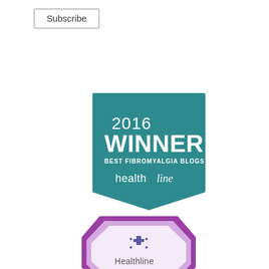[Figure (logo): Subscribe button - rectangular button with border and text 'Subscribe']
[Figure (illustration): 2016 Winner Best Fibromyalgia Blogs award badge from Healthline - teal/dark cyan square badge with downward pointing pennant tail, white text reading '2016 WINNER BEST FIBROMYALGIA BLOGS' and 'healthline' logo at bottom]
[Figure (illustration): Healthline award badge - purple octagonal/shield shape with light purple inner border, Healthline logo with cross/plus icon inside, partially visible at bottom of page]